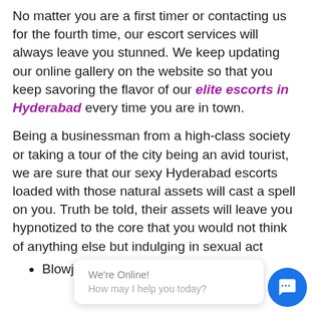No matter you are a first timer or contacting us for the fourth time, our escort services will always leave you stunned. We keep updating our online gallery on the website so that you keep savoring the flavor of our elite escorts in Hyderabad every time you are in town.
Being a businessman from a high-class society or taking a tour of the city being an avid tourist, we are sure that our sexy Hyderabad escorts loaded with those natural assets will cast a spell on you. Truth be told, their assets will leave you hypnotized to the core that you would not think of anything else but indulging in sexual act
Blowjob
We're Online! How may I help you today?